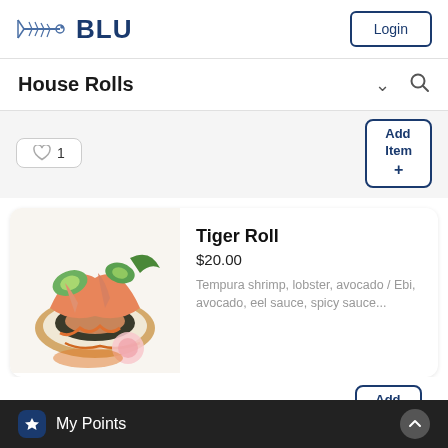[Figure (logo): BLU restaurant logo with fish skeleton icon and bold BLU text in navy blue]
Login
House Rolls
[Figure (photo): Tiger Roll sushi photo showing tempura shrimp, lobster, avocado, eel sauce toppings with radish garnish]
Tiger Roll
$20.00
Tempura shrimp, lobster, avocado / Ebi, avocado, eel sauce, spicy sauce...
My Points